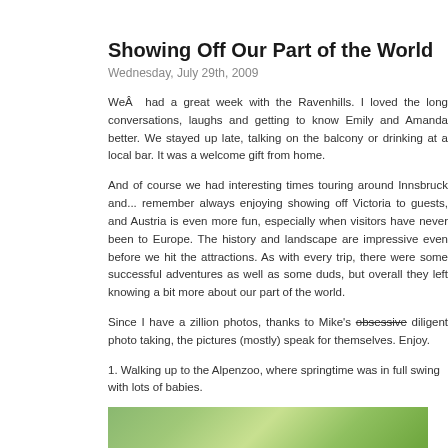Showing Off Our Part of the World
Wednesday, July 29th, 2009
WeÂ  had a great week with the Ravenhills. I loved the long conversations, laughs and getting to know Emily and Amanda better. We stayed up late, talking on the balcony or drinking at a local bar. It was a welcome gift from home.
And of course we had interesting times touring around Innsbruck and... remember always enjoying showing off Victoria to guests, and Austria is even more fun, especially when visitors have never been to Europe. The history and landscape are impressive even before we hit the attractions. As with every trip, there were some successful adventures as well as some duds, but overall they left knowing a bit more about our part of the world.
Since I have a zillion photos, thanks to Mike’s obsessive diligent photo taking, the pictures (mostly) speak for themselves. Enjoy.
1. Walking up to the Alpenzoo, where springtime was in full swing with lots of babies.
[Figure (photo): Outdoor path through lush green trees; people walking up a trail toward the Alpenzoo]